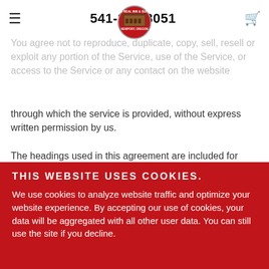≡  541-265-8051  🛒
information is always encrypted during transfer over networks.
You agree not to reproduce, duplicate, copy, sell, resell or exploit any portion of the Service, use of the Service, or access to the Service or any contact on the website through which the service is provided, without express written permission by us.
The headings used in this agreement are included for convenience only and will not limit or otherwise affect these Terms.
SECTION 3 - ACCURACY, COMPLETENESS AND TIMELINESS OF INFORMATION
THIS WEBSITE USES COOKIES.
We use cookies to analyze website traffic and optimize your website experience. By accepting our use of cookies, your data will be aggregated with all other user data. You can still use the site if you decline.